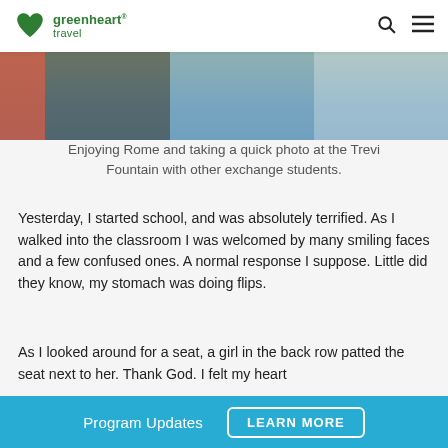greenheart travel
[Figure (photo): Cropped photo showing the torsos and hands of several exchange students standing together, one holding a camera, with water visible in the background at the Trevi Fountain in Rome.]
Enjoying Rome and taking a quick photo at the Trevi Fountain with other exchange students.
Yesterday, I started school, and was absolutely terrified. As I walked into the classroom I was welcomed by many smiling faces and a few confused ones. A normal response I suppose. Little did they know, my stomach was doing flips.
As I looked around for a seat, a girl in the back row patted the seat next to her. Thank God. I felt my heart
Program Updates   LEARN MORE